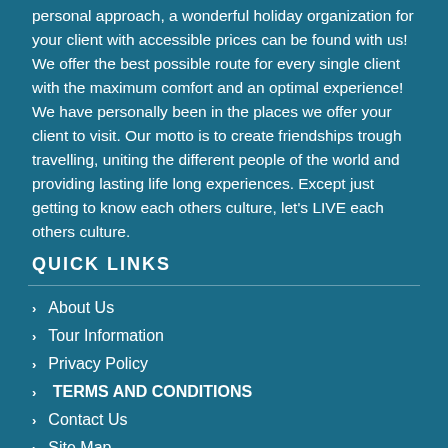personal approach, a wonderful holiday organization for your client with accessible prices can be found with us! We offer the best possible route for every single client with the maximum comfort and an optimal experience! We have personally been in the places we offer your client to visit. Our motto is to create friendships trough travelling, uniting the different people of the world and providing lasting life long experiences. Except just getting to know each others culture, let's LIVE each others culture.
QUICK LINKS
About Us
Tour Information
Privacy Policy
TERMS AND CONDITIONS
Contact Us
Site Map
Home
OUR SUPPORT TEAM
[Figure (photo): Oval-framed group photo of the support team, showing three people smiling against a white background]